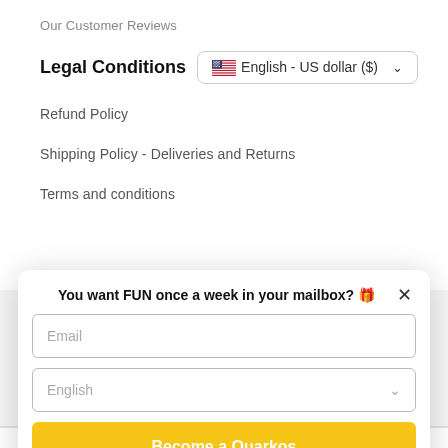Our Customer Reviews
Legal Conditions
[Figure (other): Language/currency selector dropdown showing US flag, English - US dollar ($) with chevron]
Refund Policy
Shipping Policy - Deliveries and Returns
Terms and conditions
You want FUN once a week in your mailbox? 🎉
Email
English
Become a Quarkos